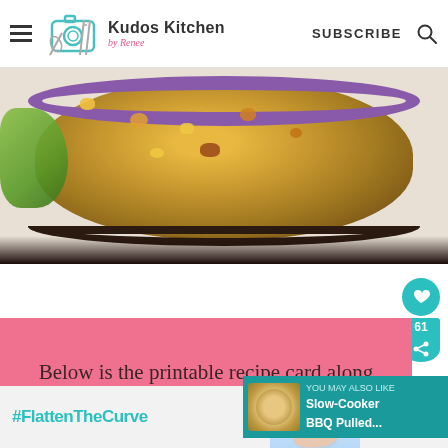Kudos Kitchen by Renee — SUBSCRIBE
[Figure (photo): Overhead photo of a purple scalloped ceramic bowl filled with a chicken, bean, and corn mixture, with green herbs on the left side, shot from above on a light wooden surface.]
Below is the printable recipe card along with the exact ingredient measurements
[Figure (infographic): Teal circular button with heart icon for saving/favoriting, with share count of 61 below it, and a teal share icon button.]
[Figure (infographic): Advertisement overlay showing Slow-Cooker BBQ Pulled... with a thumbnail image on a teal background.]
[Figure (infographic): Bottom advertisement bar with #FlattenTheCurve text in teal, a hand-washing image, and a logo on white/grey background.]